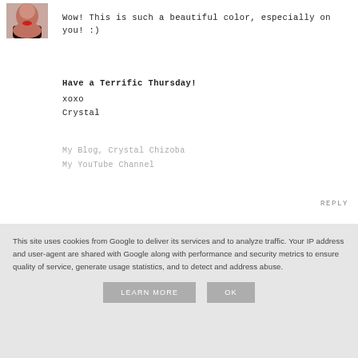[Figure (photo): Small avatar photo of a woman with red lipstick, dark hair]
Wow! This is such a beautiful color, especially on you! :)
Have a Terrific Thursday!
xoxo
Crystal
My Blog, Crystal Chizoba
My YouTube Channel
REPLY
▾ REPLIES
[Figure (photo): Small avatar photo of a young woman with dark hair]
EVELYN  26 April 2013 at 12:44
thanks Crystal! xx
This site uses cookies from Google to deliver its services and to analyze traffic. Your IP address and user-agent are shared with Google along with performance and security metrics to ensure quality of service, generate usage statistics, and to detect and address abuse.